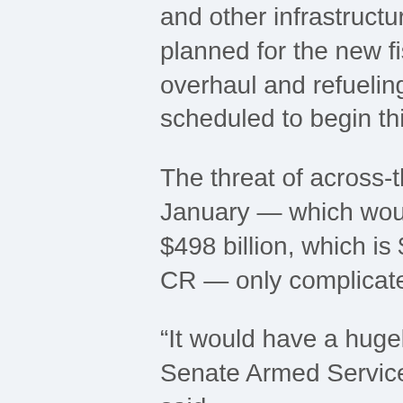and other infrastructure improvements the services had planned for the new fiscal year. It would also delay the overhaul and refueling of a nuclear-powered aircraft carrier scheduled to begin this year.
The threat of across-the-board sequester cuts beginning in January — which would bring defense spending down to $498 billion, which is $20 billion less than provided in the CR — only complicates the outlook for defense spending.
“It would have a hugely negative effect on our security,” Senate Armed Services Chairman Carl Levin, D-Mich., said.
But Levin, like Mikulski and Reid, also signaled that defense cannot be considered separately from other government agencies.
The double whammy of a CR and sequester would also have a “hugely negative effect on education, a number of health care clinics and a lot of other things,” Levin added.